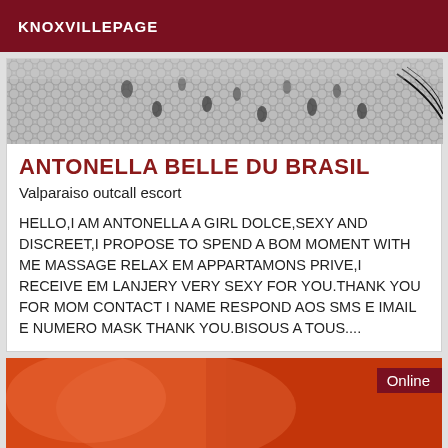KNOXVILLEPAGE
[Figure (photo): Black and white close-up photo showing lace/mesh fabric texture and eyelashes]
ANTONELLA BELLE DU BRASIL
Valparaiso outcall escort
HELLO,I AM ANTONELLA A GIRL DOLCE,SEXY AND DISCREET,I PROPOSE TO SPEND A BOM MOMENT WITH ME MASSAGE RELAX EM APPARTAMONS PRIVE,I RECEIVE EM LANJERY VERY SEXY FOR YOU.THANK YOU FOR MOM CONTACT I NAME RESPOND AOS SMS E IMAIL E NUMERO MASK THANK YOU.BISOUS A TOUS....
[Figure (photo): Orange/warm toned close-up photo with Online badge overlay]
Online